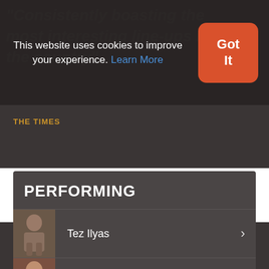"Consistently boasting the most interesting line-ups in the country"
THE TIMES
This website uses cookies to improve your experience. Learn More
Got It
PERFORMING
Tez Ilyas